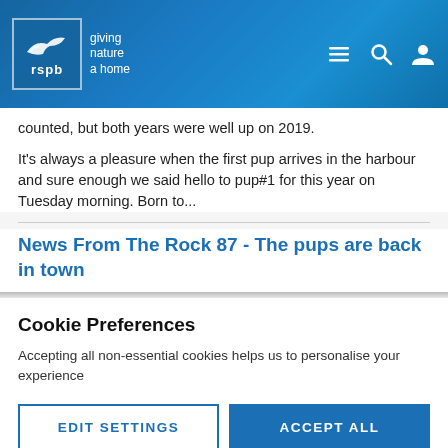[Figure (logo): RSPB logo with bird icon and 'giving nature a home' tagline, plus navigation icons (menu, search, user) on dark blue banner background]
counted, but both years were well up on 2019.
It's always a pleasure when the first pup arrives in the harbour and sure enough we said hello to pup#1 for this year on Tuesday morning. Born to...
News From The Rock 87 - The pups are back in town
Cookie Preferences
Accepting all non-essential cookies helps us to personalise your experience
EDIT SETTINGS | ACCEPT ALL